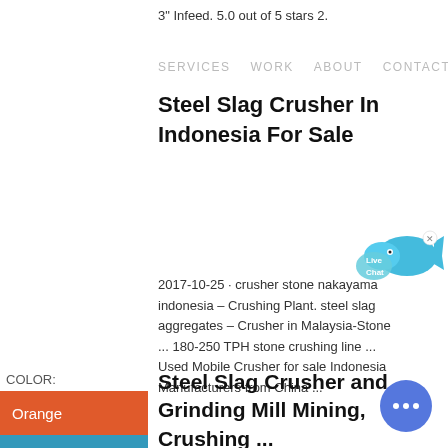3" Infeed. 5.0 out of 5 stars 2.
SERVICES   WORK   ABOUT   CONTACT
Steel Slag Crusher In Indonesia For Sale
[Figure (illustration): Live Chat button with fish/bubble graphic in teal/blue]
2017-10-25 · crusher stone nakayama indonesia – Crushing Plant. steel slag aggregates – Crusher in Malaysia-Stone ... 180-250 TPH stone crushing line ... Used Mobile Crusher for sale Indonesia Manufacturers from China ...
| COLOR: |
| --- |
| Orange |
| Blue |
| Yellow |
Steel Slag Crusher and Grinding Mill Mining, Crushing ...
[Figure (illustration): Round blue chat button with three dots]